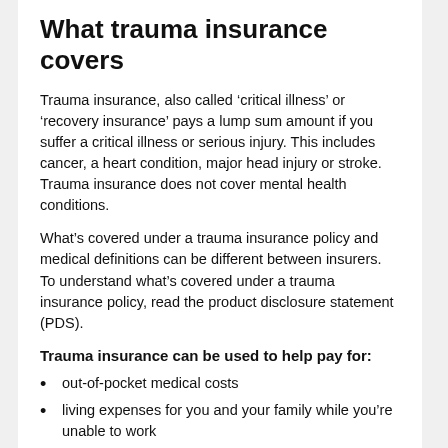What trauma insurance covers
Trauma insurance, also called ‘critical illness’ or ‘recovery insurance’ pays a lump sum amount if you suffer a critical illness or serious injury. This includes cancer, a heart condition, major head injury or stroke. Trauma insurance does not cover mental health conditions.
What’s covered under a trauma insurance policy and medical definitions can be different between insurers. To understand what’s covered under a trauma insurance policy, read the product disclosure statement (PDS).
Trauma insurance can be used to help pay for:
out-of-pocket medical costs
living expenses for you and your family while you’re unable to work
the cost of therapy, nursing care and special transport